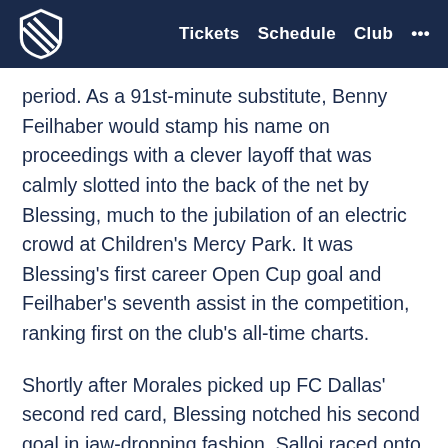Tickets  Schedule  Club  ...
period. As a 91st-minute substitute, Benny Feilhaber would stamp his name on proceedings with a clever layoff that was calmly slotted into the back of the net by Blessing, much to the jubilation of an electric crowd at Children's Mercy Park. It was Blessing's first career Open Cup goal and Feilhaber's seventh assist in the competition, ranking first on the club's all-time charts.
Shortly after Morales picked up FC Dallas' second red card, Blessing notched his second goal in jaw-dropping fashion. Salloi raced onto a Feilhaber pass and cut the ball back near the right endline. Medranda was late to arrive on the opposite side of the box and unfurled a rocket that was deftly steered into the net by Blessing.